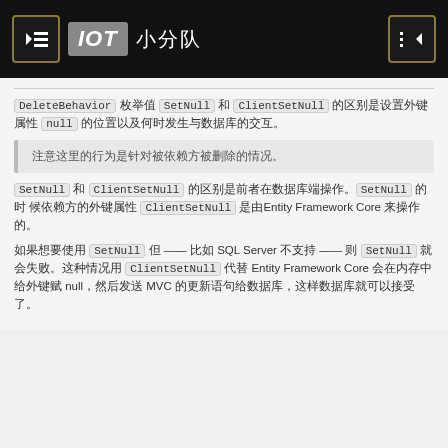IOT 小分队
DeleteBehavior 枚举值 SetNull 和 ClientSetNull 的区别是设置外键属性 null 的位置以及何时发生与数据库的交互。
注意这里的行为是针对被依赖方被删除的情况。
SetNull 和 ClientSetNull 的区别是前者在数据库端操作。SetNull 的时候依赖方的外键属性 ClientSetNull 是由Entity Framework Core 来操作的。
如果想要使用 SetNull 但 —— 比如 SQL Server 不支持 —— 则 SetNull 就会失败。这种情况用 ClientSetNull 代替 Entity Framework Core 会在内存中给外键赋 null，然后发送 MVC 的更新语句给数据库，这样数据库就可以接受了。